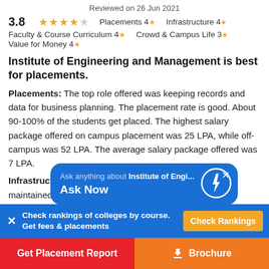Reviewed on 26 Jun 2021
3.8 ★★★★☆ Placements 4★ Infrastructure 4★ Faculty & Course Curriculum 4★ Crowd & Campus Life 3★ Value for Money 4★
Institute of Engineering and Management is best for placements.
Placements: The top role offered was keeping records and data for business planning. The placement rate is good. About 90-100% of the students get placed. The highest salary package offered on campus placement was 25 LPA, while off-campus was 52 LPA. The average salary package offered was 7 LPA.
Infrastructure: The college has a lot of facilities and well maintained hostel facilities and good
[Figure (screenshot): Blue popup box: 'Ask anything about Institute of Engi... Ask Now' with lightning bolt icon and close button]
Check rankings of colleges by course. Get fees & placements | Check Rankings
Get Placement Report | Brochure